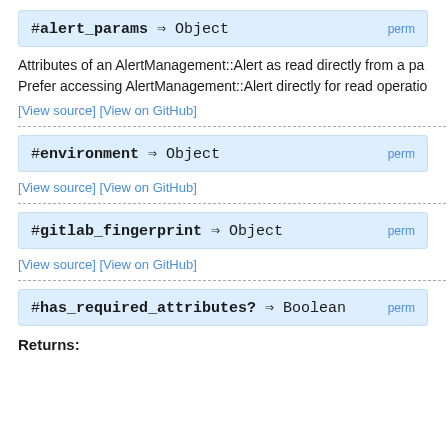#alert_params ⇒ Object   perm
Attributes of an AlertManagement::Alert as read directly from a pa Prefer accessing AlertManagement::Alert directly for read operatio
[View source] [View on GitHub]
#environment ⇒ Object   perm
[View source] [View on GitHub]
#gitlab_fingerprint ⇒ Object   perm
[View source] [View on GitHub]
#has_required_attributes? ⇒ Boolean   perm
Returns: